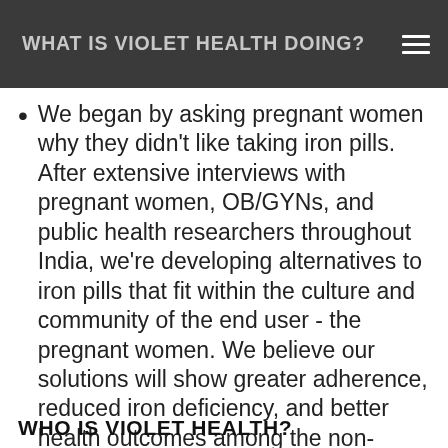WHAT IS VIOLET HEALTH DOING?
We began by asking pregnant women why they didn't like taking iron pills.  After extensive interviews with pregnant women, OB/GYNs, and public health researchers throughout India, we're developing alternatives to iron pills that fit within the culture and community of the end user - the pregnant women. We believe our solutions will show greater adherence, reduced iron deficiency, and better health outcomes among the non-adherent pregnant women in India and their unborn children.
WHO IS VIOLET HEALTH?